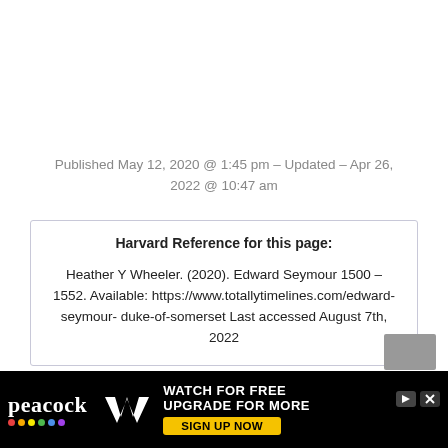Published May 12, 2020 @ 1:45 pm – Updated – Apr 26, 2022 @ 10:47 am
Harvard Reference for this page:

Heather Y Wheeler. (2020). Edward Seymour 1500 – 1552. Available: https://www.totallytimelines.com/edward-seymour-duke-of-somerset Last accessed August 7th, 2022
[Figure (other): Peacock and WWE Network advertisement banner: 'Watch for free upgrade for more – Sign up now']